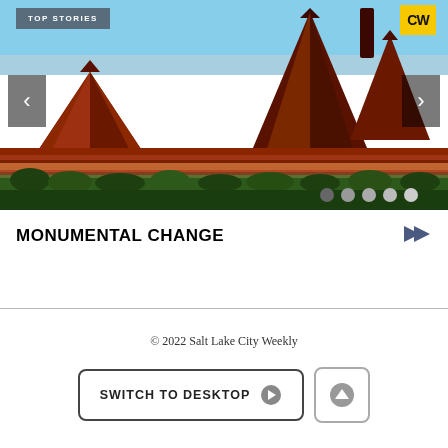[Figure (photo): Slideshow of red rock canyon landscape (Bears Ears / Utah monument area) with blue sky, red sandstone buttes and mesas, green vegetation in foreground. Navigation arrows left and right, dot indicators, TOP STORIES badge, CW logo.]
MONUMENTAL CHANGE
© 2022 Salt Lake City Weekly
SWITCH TO DESKTOP
↑